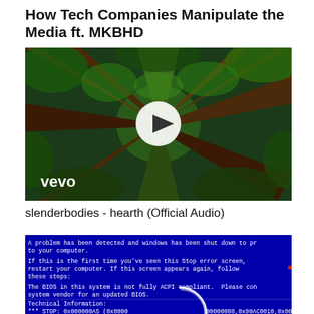How Tech Companies Manipulate the Media ft. MKBHD
[Figure (photo): Video thumbnail showing upward view of tall redwood trees with a white play button circle overlay and 'vevo' watermark in bottom left. Green and brown forest canopy against sky viewed from below.]
slenderbodies - hearth (Official Audio)
[Figure (screenshot): Blue screen of death (BSOD) Windows error screen showing text: 'A problem has been detected and windows has been shut down to protect your computer.' and 'If this is the first time you've seen this Stop error screen, restart your computer. If this screen appears again, follow these steps:' and 'The BIOS in this system is not fully ACPI compliant. Please contact your system vendor for an updated BIOS.' and 'Technical Information:' and '*** STOP: 0x000000A5 (0x0000..., 0x00000008, 0x90AC0010, 0x00004000...' with a partial circular logo overlay.]